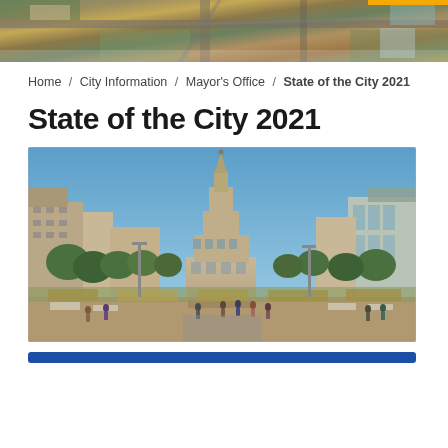[Figure (photo): Aerial photograph of a city intersection with road networks, green spaces, and urban infrastructure]
Home / City Information / Mayor's Office / State of the City 2021
State of the City 2021
[Figure (photo): Street-level photograph looking toward the Nebraska State Capitol building with pedestrians, trees, and urban buildings on both sides]
[Figure (other): Blue horizontal bar/button element at the bottom of the page]